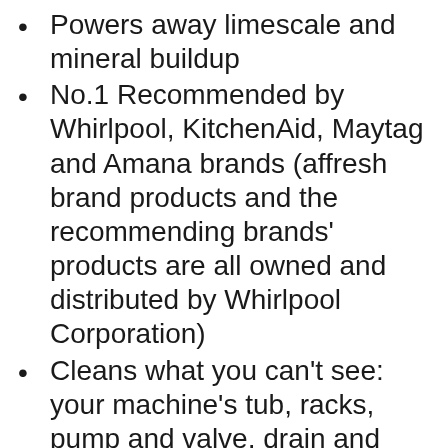Powers away limescale and mineral buildup
No.1 Recommended by Whirlpool, KitchenAid, Maytag and Amana brands (affresh brand products and the recommending brands' products are all owned and distributed by Whirlpool Corporation)
Cleans what you can't see: your machine's tub, racks, pump and valve, drain and recirculation hoses
Cleans inside all dishwasher machine makes and models
Use monthly or as needed to